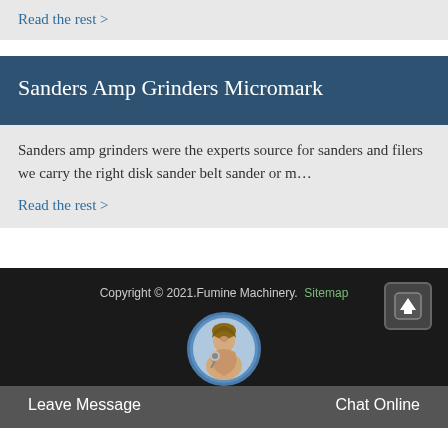Read the rest >
Sanders Amp Grinders Micromark
Sanders amp grinders were the experts source for sanders and filers we carry the right disk sander belt sander or m…
Read the rest >
Copyright © 2021.Fumine Machinery. Sitemap
Leave Message
Chat Online